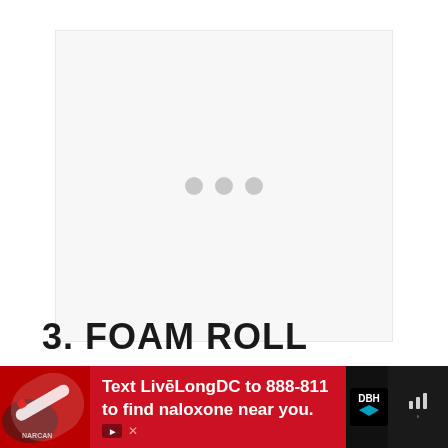[Figure (other): Loading placeholder area with a light gray background and three gray dots in the center indicating content is loading]
3. FOAM ROLL
[Figure (other): Advertisement banner at the bottom of the page. Red background with text: Text LiveLongDC to 888-811 to find naloxone near you. DBH logo visible. Left side shows a partial image of hands holding a medical device.]